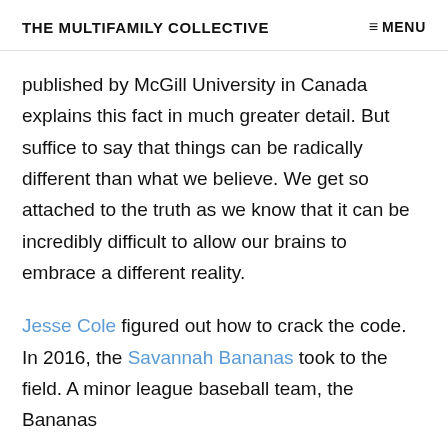THE MULTIFAMILY COLLECTIVE   ≡ MENU
published by McGill University in Canada explains this fact in much greater detail. But suffice to say that things can be radically different than what we believe. We get so attached to the truth as we know that it can be incredibly difficult to allow our brains to embrace a different reality.
Jesse Cole figured out how to crack the code. In 2016, the Savannah Bananas took to the field. A minor league baseball team, the Bananas